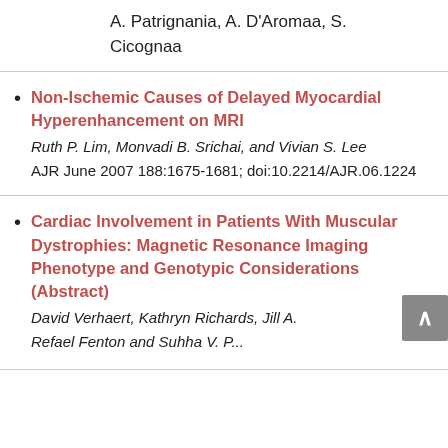A. Patrignania, A. D'Aromaa, S. Cicognaa
Non-Ischemic Causes of Delayed Myocardial Hyperenhancement on MRI
Ruth P. Lim, Monvadi B. Srichai, and Vivian S. Lee
AJR June 2007 188:1675-1681; doi:10.2214/AJR.06.1224
Cardiac Involvement in Patients With Muscular Dystrophies: Magnetic Resonance Imaging Phenotype and Genotypic Considerations (Abstract)
David Verhaert, Kathryn Richards, Jill A.
Refael Fenton and Suhha V. P...